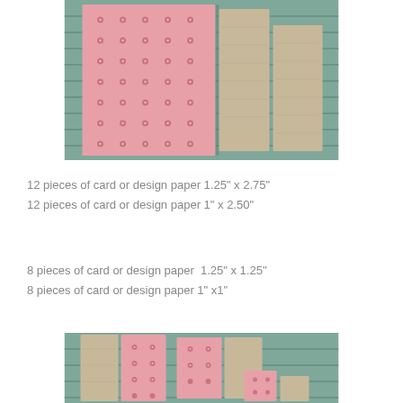[Figure (photo): Photo of pink patterned paper with dot/diamond pattern and beige/tan paper pieces arranged on a teal/sage green slatted surface]
12 pieces of card or design paper 1.25" x 2.75"
12 pieces of card or design paper 1" x 2.50"
8 pieces of card or design paper  1.25" x 1.25"
8 pieces of card or design paper 1" x1"
[Figure (photo): Photo of beige/tan and pink patterned paper pieces of various sizes arranged on a teal/sage green slatted surface, showing different size comparisons]